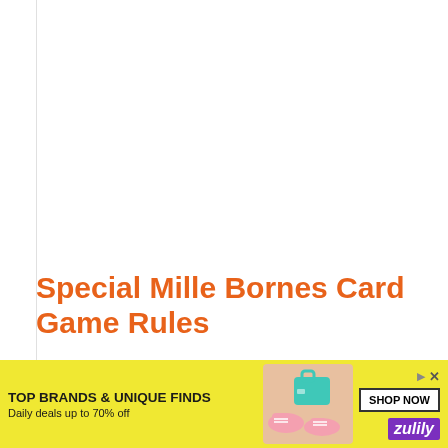Special Mille Bornes Card Game Rules
Coup Fourré: Prounounced coo-foo-ray, this special rule is a french term for counter
[Figure (infographic): Advertisement banner: yellow background with shoes and bag image, text 'TOP BRANDS & UNIQUE FINDS', 'Daily deals up to 70% off', 'SHOP NOW' button, Zulily logo]